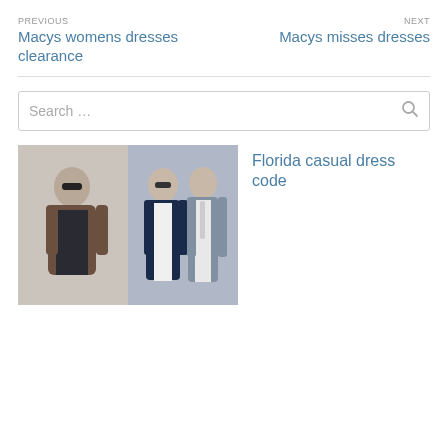PREVIOUS
Macys womens dresses clearance
NEXT
Macys misses dresses
Search …
[Figure (photo): Three men in smart-casual and formal suits]
Florida casual dress code